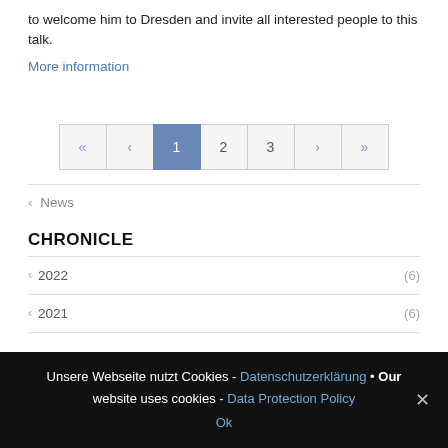to welcome him to Dresden and invite all interested people to this talk.
More information
[Figure (other): Pagination bar with navigation arrows and page numbers: « < 1 2 3 > »; page 1 is highlighted in blue]
‹ News
CHRONICLE
‹ 2022 (6)
‹ 2021 (6)
Unsere Webseite nutzt Cookies - Datenschutzerklärung • Our website uses cookies - Data Protection Policy
Ok